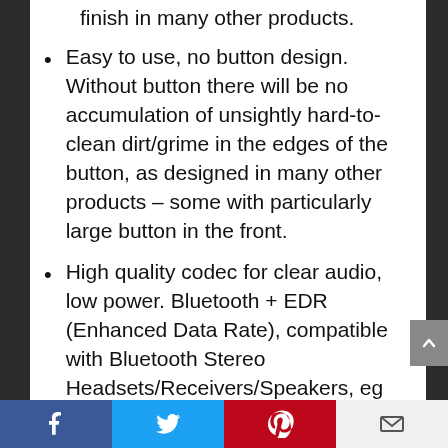finish in many other products.
Easy to use, no button design. Without button there will be no accumulation of unsightly hard-to-clean dirt/grime in the edges of the button, as designed in many other products – some with particularly large button in the front.
High quality codec for clear audio, low power. Bluetooth + EDR (Enhanced Data Rate), compatible with Bluetooth Stereo Headsets/Receivers/Speakers, eg the NEW KOKKIA Tiny i10sTwin